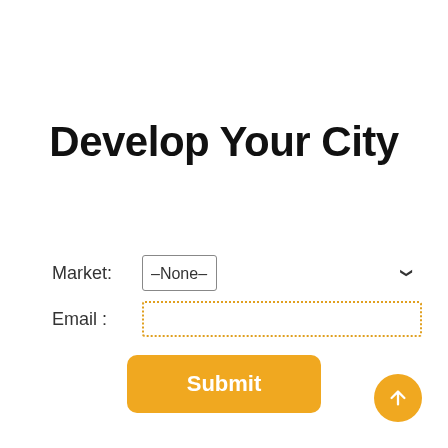Develop Your City
Market: –None–
Email :
Submit